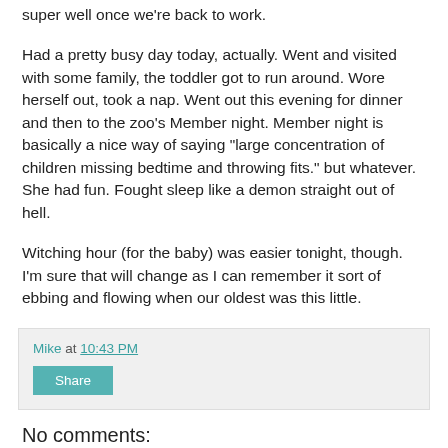super well once we're back to work.
Had a pretty busy day today, actually. Went and visited with some family, the toddler got to run around. Wore herself out, took a nap. Went out this evening for dinner and then to the zoo's Member night. Member night is basically a nice way of saying "large concentration of children missing bedtime and throwing fits." but whatever. She had fun. Fought sleep like a demon straight out of hell.
Witching hour (for the baby) was easier tonight, though. I'm sure that will change as I can remember it sort of ebbing and flowing when our oldest was this little.
Mike at 10:43 PM
Share
No comments:
Post a Comment